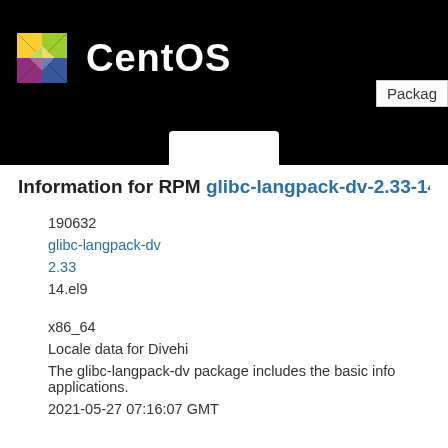[Figure (logo): CentOS logo with colorful geometric star and CentOS text in white on black header bar]
Information for RPM glibc-langpack-dv-2.33-14.e...
| 190632 |
| glibc-langpack-dv |
| 2.33 |
| 14.el9 |
|  |
| x86_64 |
| Locale data for Divehi |
| The glibc-langpack-dv package includes the basic info... applications. |
| 2021-05-27 07:16:07 GMT |